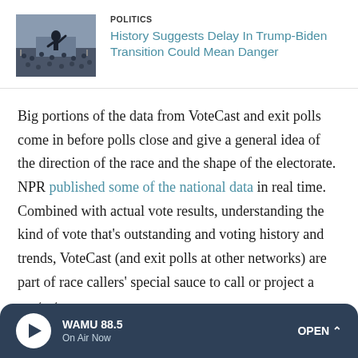[Figure (photo): Inauguration or political rally photo showing a figure waving to a crowd]
POLITICS
History Suggests Delay In Trump-Biden Transition Could Mean Danger
Big portions of the data from VoteCast and exit polls come in before polls close and give a general idea of the direction of the race and the shape of the electorate. NPR published some of the national data in real time. Combined with actual vote results, understanding the kind of vote that's outstanding and voting history and trends, VoteCast (and exit polls at other networks) are part of race callers' special sauce to call or project a contest.
And in Arizona, "those results also generally matched the
WAMU 88.5  On Air Now  OPEN ^